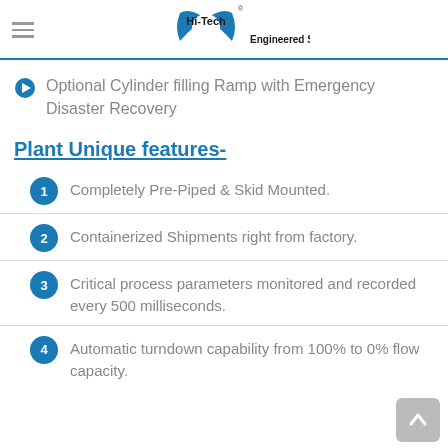Hi-Tech Engineered Solutions
Optional Cylinder filling Ramp with Emergency Disaster Recovery
Plant Unique features-
Completely Pre-Piped & Skid Mounted.
Containerized Shipments right from factory.
Critical process parameters monitored and recorded every 500 milliseconds.
Automatic turndown capability from 100% to 0% flow capacity.